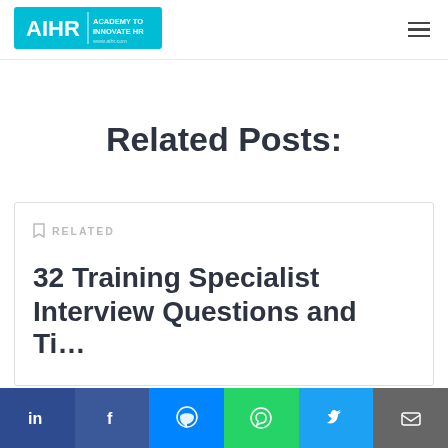[Figure (logo): AIHR Academy to Innovate HR logo — cyan/blue rectangle with white text]
Related Posts:
RELATED
32 Training Specialist Interview Questions and Ti...